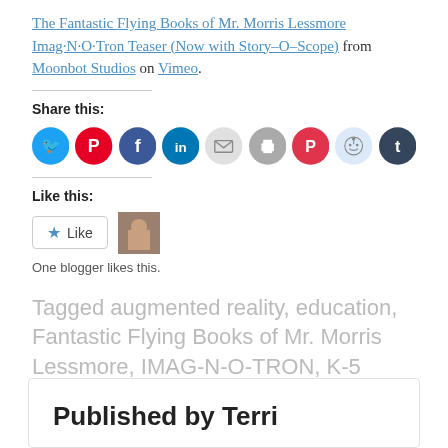The Fantastic Flying Books of Mr. Morris Lessmore Imag·N·O·Tron Teaser (Now with Story–O–Scope) from Moonbot Studios on Vimeo.
Share this:
[Figure (infographic): Row of social sharing icon circles: Twitter (blue), Pinterest (red), Facebook (dark blue), LinkedIn (teal), Email (light gray), Print (gray), Pocket (red), Reddit (light blue), Tumblr (dark navy)]
Like this:
[Figure (infographic): Like button with star icon and a blogger avatar thumbnail]
One blogger likes this.
Tagged augmented reality, education, Fantastic Flying Books of Mr. Morris Lessmore, IMAG-N-O-TRON, K-5
Published by Terri